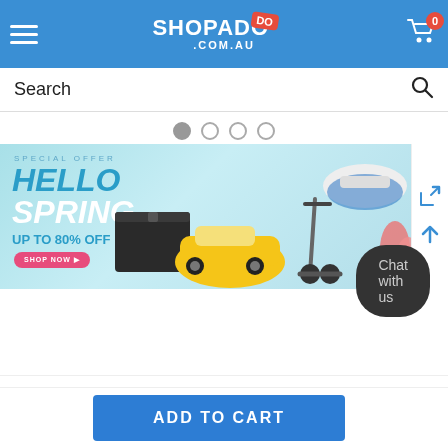[Figure (screenshot): ShopaDo.com.au website header with blue background, hamburger menu, ShopaDo logo, and cart icon with 0 badge]
Search
[Figure (infographic): Carousel navigation dots: 4 dots, first filled/active]
[Figure (illustration): Spring sale banner: SPECIAL OFFER HELLO SPRING UP TO 80% OFF with shop now button, featuring chest, yellow toy car, scooter, inflatable boat, and tulips]
Chat with us
ADD TO CART